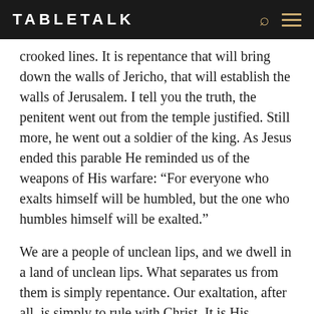TABLETALK
crooked lines. It is repentance that will bring down the walls of Jericho, that will establish the walls of Jerusalem. I tell you the truth, the penitent went out from the temple justified. Still more, he went out a soldier of the king. As Jesus ended this parable He reminded us of the weapons of His warfare: “For everyone who exalts himself will be humbled, but the one who humbles himself will be exalted.”
We are a people of unclean lips, and we dwell in a land of unclean lips. What separates us from them is simply repentance. Our exaltation, after all, is simply to rule with Christ. It is His kingdom we